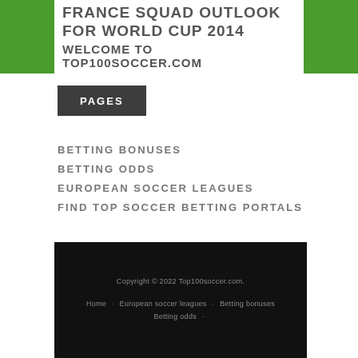FRANCE SQUAD OUTLOOK FOR WORLD CUP 2014
WELCOME TO TOP100SOCCER.COM
PAGES
BETTING BONUSES
BETTING ODDS
EUROPEAN SOCCER LEAGUES
FIND TOP SOCCER BETTING PORTALS
Copyright © 2022 Top100soccer.com.
Home · European soccer leagues · Betting bonuses · Betting odds ·